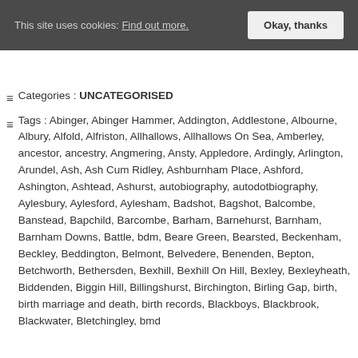This site uses cookies: Find out more. Okay, thanks
Categories : UNCATEGORISED
Tags : Abinger, Abinger Hammer, Addington, Addlestone, Albourne, Albury, Alfold, Alfriston, Allhallows, Allhallows On Sea, Amberley, ancestor, ancestry, Angmering, Ansty, Appledore, Ardingly, Arlington, Arundel, Ash, Ash Cum Ridley, Ashburnham Place, Ashford, Ashington, Ashtead, Ashurst, autobiography, autodotbiography, Aylesbury, Aylesford, Aylesham, Badshot, Bagshot, Balcombe, Banstead, Bapchild, Barcombe, Barham, Barnehurst, Barnham, Barnham Downs, Battle, bdm, Beare Green, Bearsted, Beckenham, Beckley, Beddington, Belmont, Belvedere, Benenden, Bepton, Betchworth, Bethersden, Bexhill, Bexhill On Hill, Bexley, Bexleyheath, Biddenden, Biggin Hill, Billingshurst, Birchington, Birling Gap, birth, birth marriage and death, birth records, Blackboys, Blackbrook, Blackwater, Bletchingley, bmd